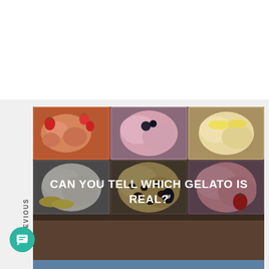[Figure (photo): A display case showing multiple trays of colorful gelato flavors including strawberry, chocolate chip, vanilla, pink/berry, and cream flavors arranged in a grid. Overlaid text reads: CAN YOU TELL WHICH GELATO IS REAL?]
EVIOUS